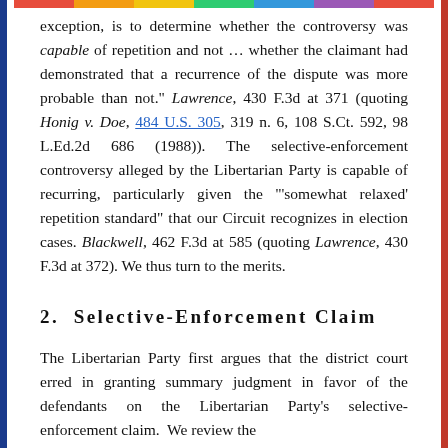exception, is to determine whether the controversy was capable of repetition and not ... whether the claimant had demonstrated that a recurrence of the dispute was more probable than not." Lawrence, 430 F.3d at 371 (quoting Honig v. Doe, 484 U.S. 305, 319 n. 6, 108 S.Ct. 592, 98 L.Ed.2d 686 (1988)). The selective-enforcement controversy alleged by the Libertarian Party is capable of recurring, particularly given the "'somewhat relaxed' repetition standard" that our Circuit recognizes in election cases. Blackwell, 462 F.3d at 585 (quoting Lawrence, 430 F.3d at 372). We thus turn to the merits.
2.  Selective-Enforcement Claim
The Libertarian Party first argues that the district court erred in granting summary judgment in favor of the defendants on the Libertarian Party's selective-enforcement claim.  We review the